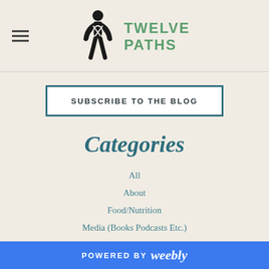[Figure (logo): Twelve Paths logo with stylized human figure and green brand name text]
SUBSCRIBE TO THE BLOG
Categories
All
About
Food/Nutrition
Media (Books Podcasts Etc.)
Motivation
POWERED BY weebly